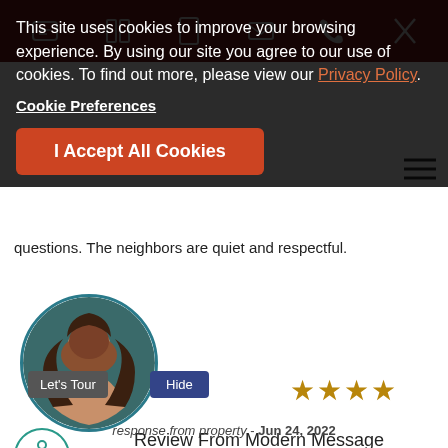[Figure (screenshot): Top navigation bar with dark red background showing various icons including chat, columns, phone, email, phone and close (X) buttons]
This site uses cookies to improve your browsing experience. By using our site you agree to our use of cookies. To find out more, please view our Privacy Policy.
Cookie Preferences
I Accept All Cookies
[Figure (other): Star rating showing 4 gold stars]
Review From Modern Message
submitted by Mario M. - Jun 22, 2022
Recommended: Yes
Good Place, Excellent Locat... — Good place, tion, with everything you need, green y staff. Close to schools, shops and s. nice appearance
[Figure (photo): Circular portrait photo of a woman with long dark curly hair, with Let's Tour and Hide buttons overlaid]
Let's Tour
Hide
response from property - Jun 24, 2022